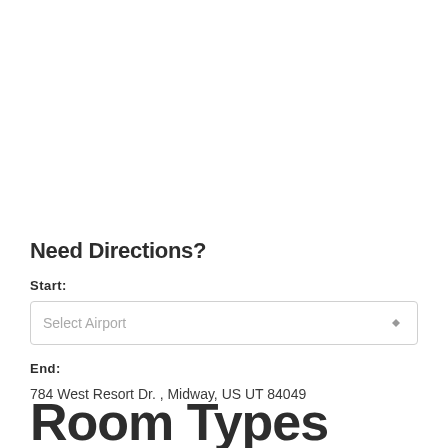Need Directions?
Start:
Select Airport
End:
784 West Resort Dr. , Midway, US UT 84049
Room Types